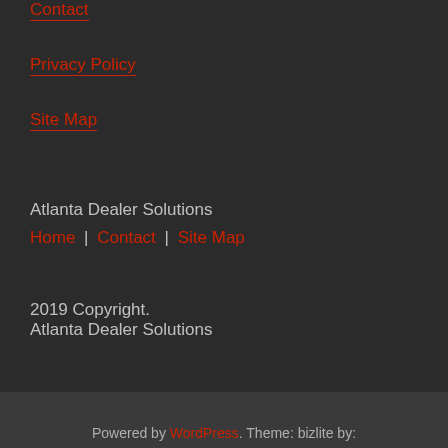Contact
Privacy Policy
Site Map
Atlanta Dealer Solutions
Home | Contact | Site Map
2019 Copyright.
Atlanta Dealer Solutions
Powered by WordPress. Theme: bizlite by: